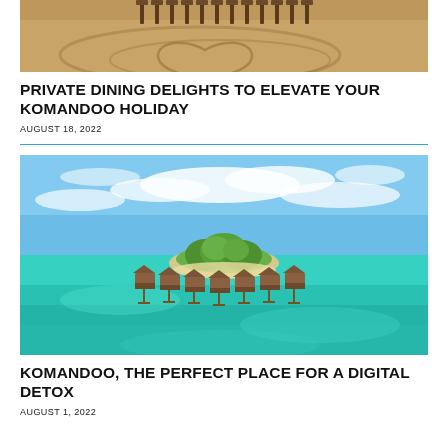[Figure (photo): Aerial view of a sandy beach with wooden chairs/stools arranged in a heart shape pattern, seen from above.]
PRIVATE DINING DELIGHTS TO ELEVATE YOUR KOMANDOO HOLIDAY
AUGUST 18, 2022
[Figure (photo): Aerial view of a Maldivian island resort with overwater bungalows surrounded by turquoise lagoon water and blue sky with clouds.]
KOMANDOO, THE PERFECT PLACE FOR A DIGITAL DETOX
AUGUST 1, 2022